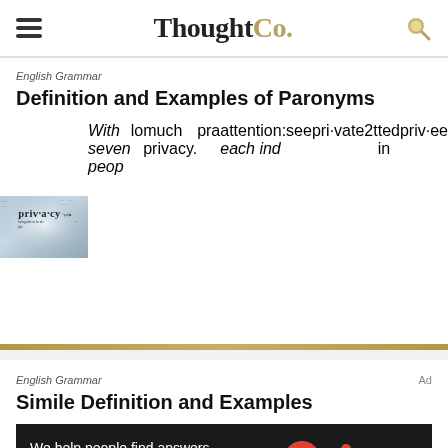ThoughtCo.
English Grammar
Definition and Examples of Paronyms
[Figure (photo): Close-up photo of a dictionary page showing the word 'privacy' with definition text in a blue-tinted style]
English Grammar
Simile Definition and Examples
[Figure (other): Advertisement banner: 'We help people find answers, solve problems and get inspired.' with Dotdash Meredith logo]